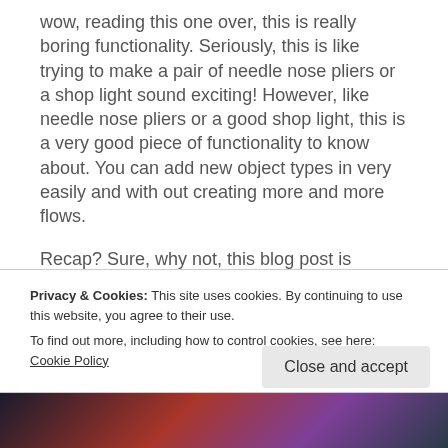wow, reading this one over, this is really boring functionality. Seriously, this is like trying to make a pair of needle nose pliers or a shop light sound exciting! However, like needle nose pliers or a good shop light, this is a very good piece of functionality to know about. You can add new object types in very easily and with out creating more and more flows.
Recap? Sure, why not, this blog post is seriously shorter than half my papers I wrote in High School...Size 12 font! Double Space! Times New Roman! Business, Business
Privacy & Cookies: This site uses cookies. By continuing to use this website, you agree to their use.
To find out more, including how to control cookies, see here: Cookie Policy
Close and accept
[Figure (photo): Dark image at the bottom of the page with red and purple tones]